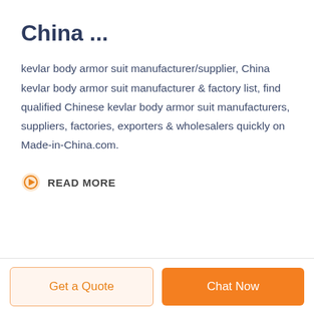China ...
kevlar body armor suit manufacturer/supplier, China kevlar body armor suit manufacturer & factory list, find qualified Chinese kevlar body armor suit manufacturers, suppliers, factories, exporters & wholesalers quickly on Made-in-China.com.
READ MORE
Get a Quote
Chat Now